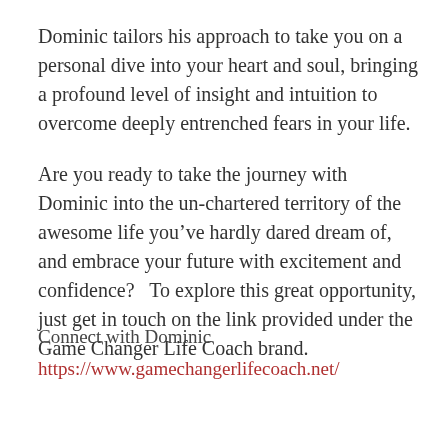Dominic tailors his approach to take you on a personal dive into your heart and soul, bringing a profound level of insight and intuition to overcome deeply entrenched fears in your life.
Are you ready to take the journey with Dominic into the un-chartered territory of the awesome life you've hardly dared dream of, and embrace your future with excitement and confidence?   To explore this great opportunity, just get in touch on the link provided under the Game Changer Life Coach brand.
Connect with Dominic
https://www.gamechangerlifecoach.net/